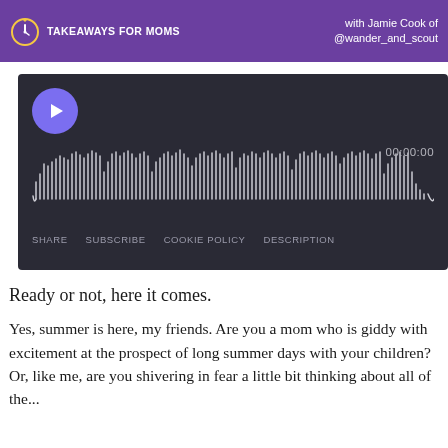[Figure (other): Purple podcast header banner with '3:30 TAKEAWAYS FOR MOMS' on the left and 'with Jamie Cook of @wander_and_scout' on the right]
[Figure (other): Dark audio player with play button, waveform visualization, 00:00:00 timestamp, and controls: SHARE, SUBSCRIBE, COOKIE POLICY, DESCRIPTION]
Ready or not, here it comes.
Yes, summer is here, my friends. Are you a mom who is giddy with excitement at the prospect of long summer days with your children? Or, like me, are you shivering in fear a little bit thinking about all of the...